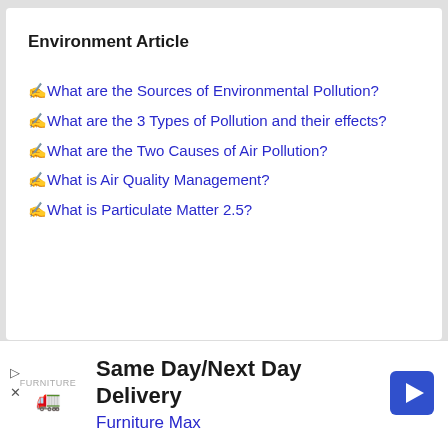Environment Article
✍What are the Sources of Environmental Pollution?
✍What are the 3 Types of Pollution and their effects?
✍What are the Two Causes of Air Pollution?
✍What is Air Quality Management?
✍What is Particulate Matter 2.5?
Same Day/Next Day Delivery
Furniture Max